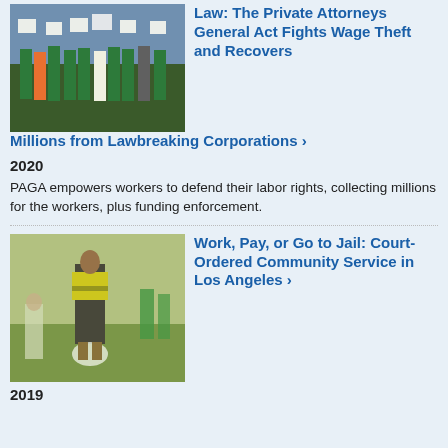[Figure (photo): Group of workers in green shirts holding protest signs outdoors]
Law: The Private Attorneys General Act Fights Wage Theft and Recovers Millions from Lawbreaking Corporations ›
2020
PAGA empowers workers to defend their labor rights, collecting millions for the workers, plus funding enforcement.
[Figure (photo): Person in yellow safety vest picking up trash outdoors with others in background]
Work, Pay, or Go to Jail: Court-Ordered Community Service in Los Angeles ›
2019